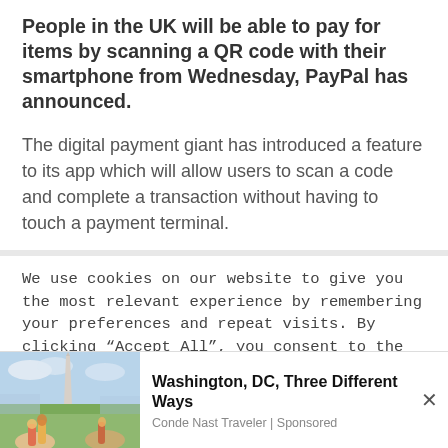People in the UK will be able to pay for items by scanning a QR code with their smartphone from Wednesday, PayPal has announced.
The digital payment giant has introduced a feature to its app which will allow users to scan a code and complete a transaction without having to touch a payment terminal.
We use cookies on our website to give you the most relevant experience by remembering your preferences and repeat visits. By clicking “Accept All”, you consent to the use of ALL the cookies. However, you may visit "Cookie Settings" to provide a controlled consent.
[Figure (photo): Photo of people toasting with drinks in front of Washington Monument skyline]
Washington, DC, Three Different Ways
Conde Nast Traveler | Sponsored